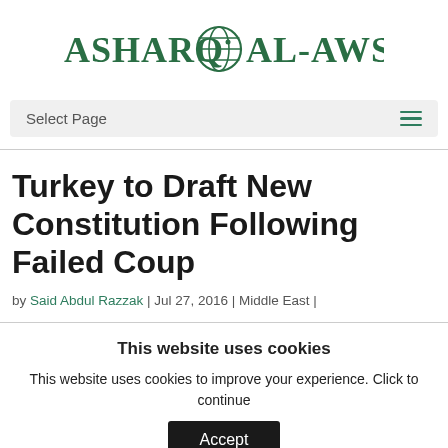[Figure (logo): Asharq Al-Awsat newspaper logo with green text and globe icon]
Select Page
Turkey to Draft New Constitution Following Failed Coup
by Said Abdul Razzak | Jul 27, 2016 | Middle East |
This website uses cookies
This website uses cookies to improve your experience. Click to continue
Accept